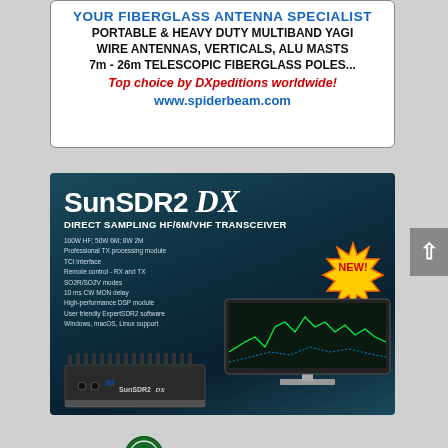[Figure (illustration): Spiderbeam advertisement: YOUR FIBERGLASS ANTENNA SPECIALIST - PORTABLE & HEAVY DUTY MULTIBAND YAGI WIRE ANTENNAS, VERTICALS, ALU MASTS 7m - 26m TELESCOPIC FIBERGLASS POLES... Top choice by DXpeditions worldwide! www.spiderbeam.com]
[Figure (illustration): SunSDR2 DX advertisement: DIRECT SAMPLING HF/6M/VHF TRANSCEIVER. 100W HF; 50W 6M; 8W 2M. Professional TX processing module. TCI interface. Remote control - RX and TX. SO2R/SO2V modes. 10 ms CW MON delay. High-performance DSP module. User friendly ExpertSDR2 software. Windows, macOS, Linux support. Features NEW! badge and photo of device with monitor.]
[Figure (logo): Partial circular logo visible at bottom of page]